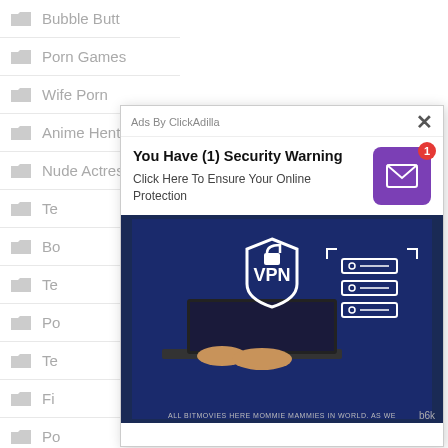Bubble Butt
Porn Games
Wife Porn
Anime Hentai
Nude Actress
Te...
Bo...
Te...
Po...
Te...
Fi...
Po...
Ph...
[Figure (screenshot): Ad popup overlay from ClickAdilla showing a security warning ad with VPN image. Title: 'You Have (1) Security Warning', subtitle: 'Click Here To Ensure Your Online Protection'. Features a mail icon with badge count 1, and a VPN-themed photo of a person typing on a laptop with cybersecurity graphics.]